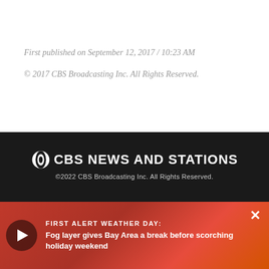First published on September 12, 2017 / 10:23 AM
© 2017 CBS Broadcasting Inc. All Rights Reserved.
[Figure (logo): CBS News and Stations logo with CBS eye icon]
©2022 CBS Broadcasting Inc. All Rights Reserved.
Contact KPIX 5
Terms of Use
News
Privacy Policy
Sports
Weather
Program Guide
FIRST ALERT WEATHER DAY: Fog layer gives Bay Area a break before scorching holiday weekend